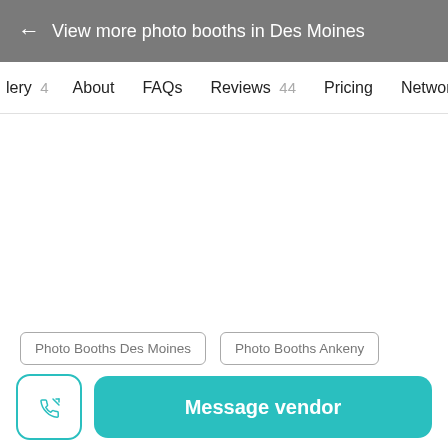← View more photo booths in Des Moines
lery 4   About   FAQs   Reviews 44   Pricing   Network
Photo Booths Des Moines   Photo Booths Ankeny
Message vendor